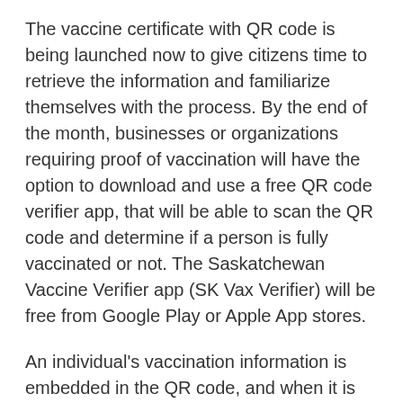The vaccine certificate with QR code is being launched now to give citizens time to retrieve the information and familiarize themselves with the process. By the end of the month, businesses or organizations requiring proof of vaccination will have the option to download and use a free QR code verifier app, that will be able to scan the QR code and determine if a person is fully vaccinated or not. The Saskatchewan Vaccine Verifier app (SK Vax Verifier) will be free from Google Play or Apple App stores.
An individual's vaccination information is embedded in the QR code, and when it is scanned with the SK Vax Verifier app, the app will show either a green indicator to verify the person is fully vaccinated or a red indicator to show they are not. Information is secure,